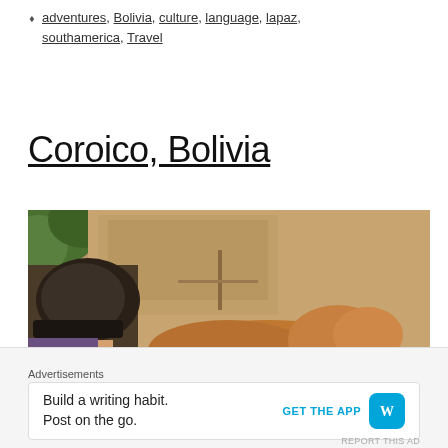adventures, Bolivia, culture, language, lapaz, southamerica, Travel
Coroico, Bolivia
[Figure (photo): First-person view photo of person's feet/legs in hiking shoes resting on sandy/rocky ground next to a brown dog lying down, with green foliage visible in the upper left corner.]
Advertisements
Build a writing habit. Post on the go. GET THE APP [WordPress logo]
REPORT THIS AD